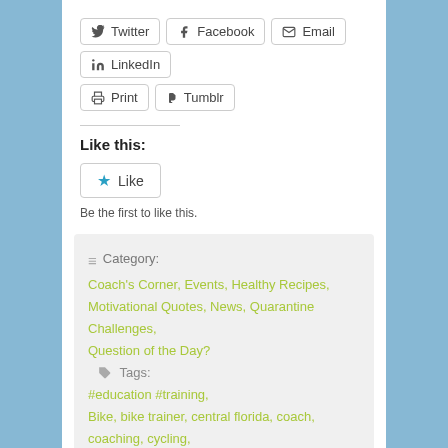Twitter Facebook Email LinkedIn Print Tumblr
Like this:
Be the first to like this.
Category: Coach's Corner, Events, Healthy Recipes, Motivational Quotes, News, Quarantine Challenges, Question of the Day? Tags: #education #training, Bike, bike trainer, central florida, coach, coaching, cycling, florida, group, Healthy Eating, Hector Torres, ironman, Nutrition, Orlando, recovery, Run, running, Swim, swimming, training, triathlete, triathlon